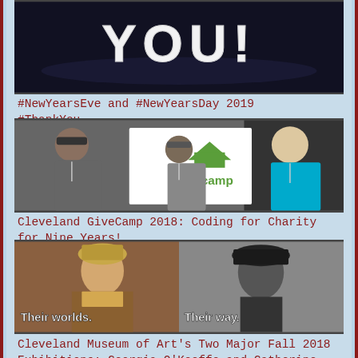[Figure (photo): Dark background image with stylized text reading 'YOU!' in decorative lettering]
#NewYearsEve and #NewYearsDay 2019 #ThankYou
[Figure (photo): Three men standing in front of a GiveCamp banner/sign]
Cleveland GiveCamp 2018: Coding for Charity for Nine Years!
[Figure (photo): Split image: left side shows a classical portrait painting of a woman with ornate dress and crown, text reads 'Their worlds.' Right side shows black and white photo of Georgia O'Keeffe, text reads 'Their way.']
Cleveland Museum of Art's Two Major Fall 2018 Exhibitions: Georgia O'Keeffe and Catherine de'